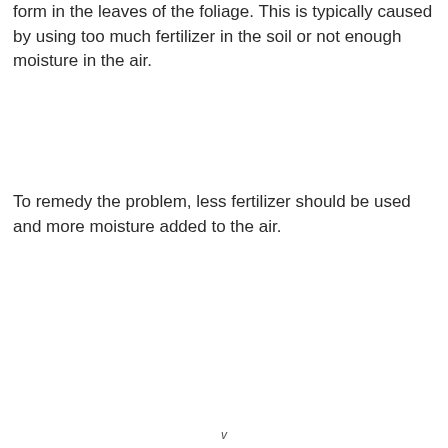form in the leaves of the foliage. This is typically caused by using too much fertilizer in the soil or not enough moisture in the air.
To remedy the problem, less fertilizer should be used and more moisture added to the air.
v